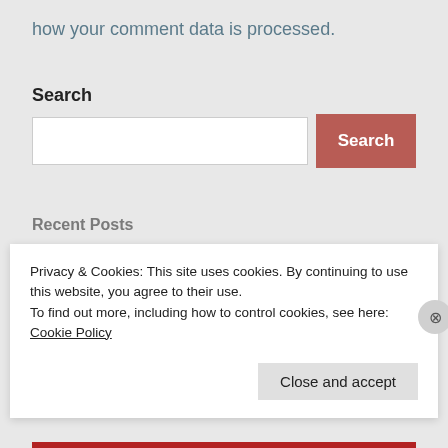how your comment data is processed.
Search
[Figure (screenshot): Search input box with a reddish Search button]
Recent Posts
How authors create foreigners and foreignness in fiction
Privacy & Cookies: This site uses cookies. By continuing to use this website, you agree to their use.
To find out more, including how to control cookies, see here: Cookie Policy
Close and accept